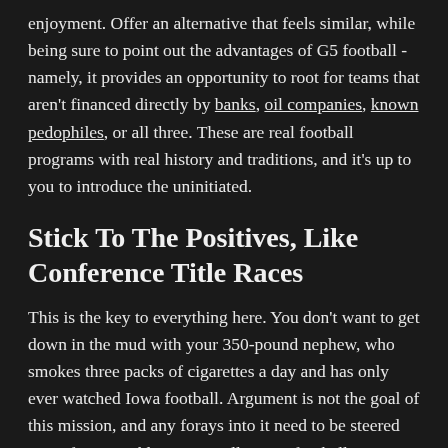enjoyment. Offer an alternative that feels similar, while being sure to point out the advantages of G5 football - namely, it provides an opportunity to root for teams that aren't financed directly by banks, oil companies, known pedophiles, or all three. These are real football programs with real history and traditions, and it's up to you to introduce the uninitiated.
Stick To The Positives, Like Conference Title Races
This is the key to everything here. You don't want to get down in the mud with your 350-pound nephew, who smokes three packs of cigarettes a day and has only ever watched Iowa football. Argument is not the goal of this mission, and any forays into it need to be steered away from quickly. You're selling G5 football, not arguing